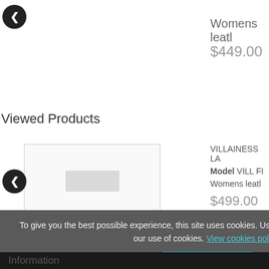Womens leatl
$449.00
Viewed Products
VILLAINESS LA
Model VILL FI
Womens leatl
$499.00
To give you the best possible experience, this site uses cookies. Using your site means your agree to our use of cookies. View cookies policy.
Accept
Information